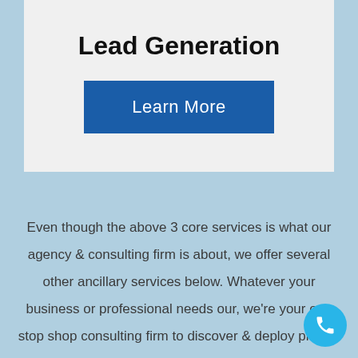Lead Generation
Learn More
Even though the above 3 core services is what our agency & consulting firm is about, we offer several other ancillary services below. Whatever your business or professional needs our, we're your one stop shop consulting firm to discover & deploy proven solutions for you and your business.